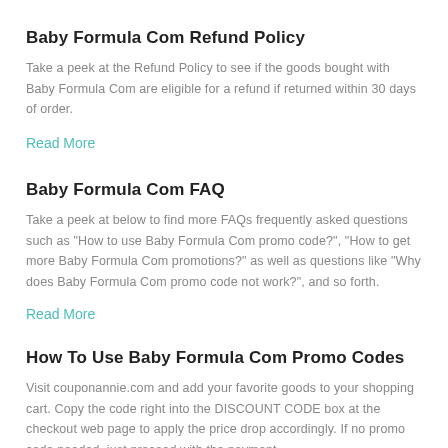Baby Formula Com Refund Policy
Take a peek at the Refund Policy to see if the goods bought with Baby Formula Com are eligible for a refund if returned within 30 days of order.
Read More
Baby Formula Com FAQ
Take a peek at below to find more FAQs frequently asked questions such as "How to use Baby Formula Com promo code?", "How to get more Baby Formula Com promotions?" as well as questions like "Why does Baby Formula Com promo code not work?", and so forth.
Read More
How To Use Baby Formula Com Promo Codes
Visit couponannie.com and add your favorite goods to your shopping cart. Copy the code right into the DISCOUNT CODE box at the checkout web page to apply the price drop accordingly. If no promo code needed, just proceed with the payment.
Read More